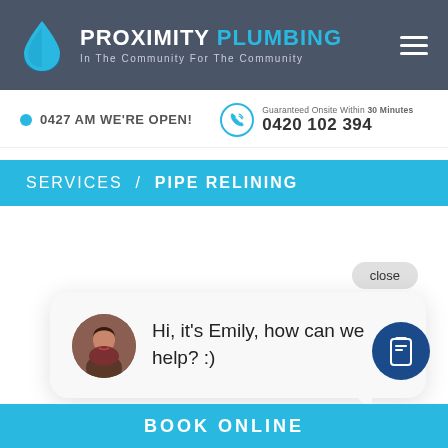[Figure (logo): Proximity Plumbing logo with water drop icon on dark gray header background]
0427 AM WE'RE OPEN!
Guaranteed Onsite Within 30 Minutes
0420 102 394
SERVICES / PIPE RELINING
close
Hi, it's Emily, how can we help? :)
BOOK ONLINE